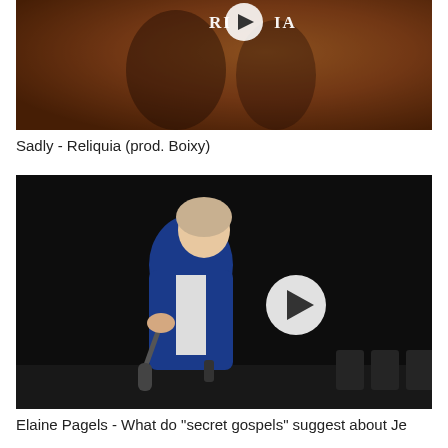[Figure (screenshot): Video thumbnail showing two figures in an amber/orange-toned scene with a play button overlay and text 'RELIQUIA' at top center]
Sadly - Reliquia (prod. Boixy)
[Figure (screenshot): Video thumbnail showing a woman in a blue blazer speaking into a microphone on a dark stage with a play button overlay]
Elaine Pagels - What do "secret gospels" suggest about Je